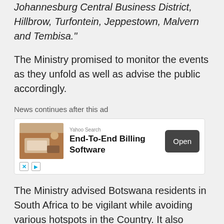Johannesburg Central Business District, Hillbrow, Turfontein, Jeppestown, Malvern and Tembisa."
The Ministry promised to monitor the events as they unfold as well as advise the public accordingly.
News continues after this ad
[Figure (other): Advertisement for Yahoo Search End-To-End Billing Software with an Open button]
The Ministry advised Botswana residents in South Africa to be vigilant while avoiding various hotspots in the Country. It also promised to